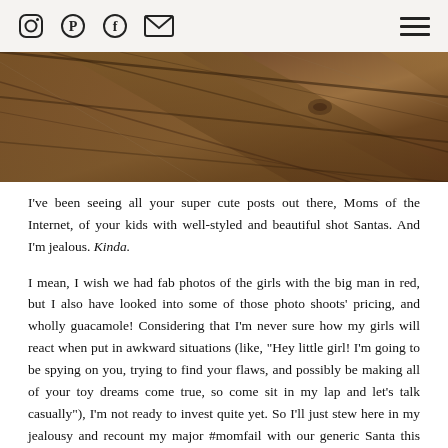Social media icons (Instagram, Pinterest, Facebook, Email) and hamburger menu
[Figure (photo): Close-up photo of wooden floor or wooden surface with diagonal planks in warm brown tones]
I've been seeing all your super cute posts out there, Moms of the Internet, of your kids with well-styled and beautiful shot Santas. And I'm jealous. Kinda.
I mean, I wish we had fab photos of the girls with the big man in red, but I also have looked into some of those photo shoots' pricing, and wholly guacamole! Considering that I'm never sure how my girls will react when put in awkward situations (like, "Hey little girl! I'm going to be spying on you, trying to find your flaws, and possibly be making all of your toy dreams come true, so come sit in my lap and let's talk casually"), I'm not ready to invest quite yet. So I'll just stew here in my jealousy and recount my major #momfail with our generic Santa this year.
For the past few seasons, we've gone to see our local Santa (at Avalon, for you Atlantans). It's been a great tradition: We walk up, get a buzzer for our time slot, jaunt around the block for a bit people-watching, see Santa, and then end with cake at Cafe